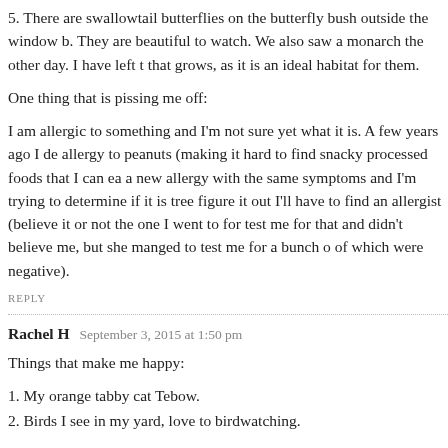5. There are swallowtail butterflies on the butterfly bush outside the window b. They are beautiful to watch. We also saw a monarch the other day. I have left that grows, as it is an ideal habitat for them.
One thing that is pissing me off:
I am allergic to something and I'm not sure yet what it is. A few years ago I de allergy to peanuts (making it hard to find snacky processed foods that I can ea a new allergy with the same symptoms and I'm trying to determine if it is tree figure it out I'll have to find an allergist (believe it or not the one I went to for test me for that and didn't believe me, but she manged to test me for a bunch o of which were negative).
REPLY
Rachel H   September 3, 2015 at 1:50 pm
Things that make me happy:
1. My orange tabby cat Tebow.
2. Birds I see in my yard, love to birdwatching.